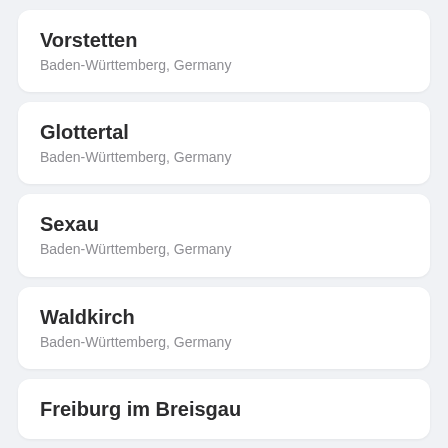Vorstetten
Baden-Württemberg, Germany
Glottertal
Baden-Württemberg, Germany
Sexau
Baden-Württemberg, Germany
Waldkirch
Baden-Württemberg, Germany
Freiburg im Breisgau